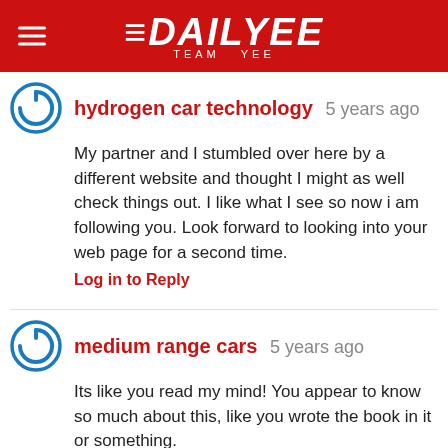[Figure (logo): Dailyee Team Yee logo on red background with hamburger menu icon]
hydrogen car technology 5 years ago
My partner and I stumbled over here by a different website and thought I might as well check things out. I like what I see so now i am following you. Look forward to looking into your web page for a second time.
Log in to Reply
medium range cars 5 years ago
Its like you read my mind! You appear to know so much about this, like you wrote the book in it or something. I think that you could do with a few pics to drive the message home a little bit, but other than that,